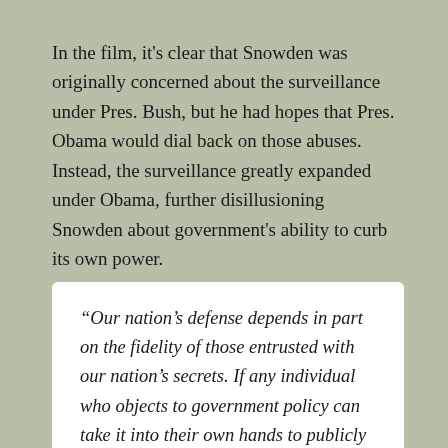In the film, it's clear that Snowden was originally concerned about the surveillance under Pres. Bush, but he had hopes that Pres. Obama would dial back on those abuses. Instead, the surveillance greatly expanded under Obama, further disillusioning Snowden about government's ability to curb its own power.
In response to Snowden's leaks, President Obama stated:
“Our nation’s defense depends in part on the fidelity of those entrusted with our nation’s secrets. If any individual who objects to government policy can take it into their own hands to publicly disclose classified information, then we will not be able to keep our people safe or conduct foreign policy.”